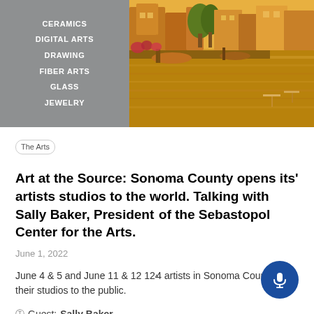[Figure (screenshot): Website navigation panel (grey background) listing art categories: CERAMICS, DIGITAL ARTS, DRAWING, FIBER ARTS, GLASS, JEWELRY alongside a colorful painting of a harbour/waterfront scene with warm yellow and orange tones.]
The Arts
Art at the Source: Sonoma County opens its' artists studios to the world. Talking with Sally Baker, President of the Sebastopol Center for the Arts.
June 1, 2022
June 4 & 5 and June 11 & 12 124 artists in Sonoma County open their studios to the public.
Guest: Sally Baker